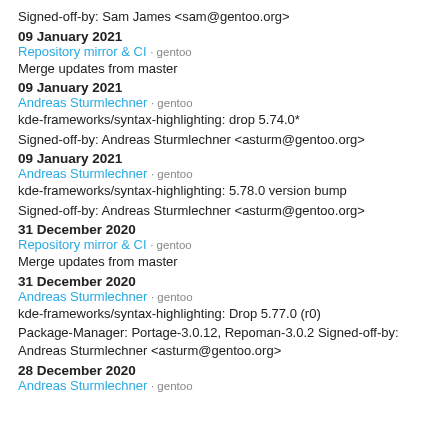Signed-off-by: Sam James <sam@gentoo.org>
09 January 2021
Repository mirror & CI · gentoo
Merge updates from master
09 January 2021
Andreas Sturmlechner · gentoo
kde-frameworks/syntax-highlighting: drop 5.74.0*
Signed-off-by: Andreas Sturmlechner <asturm@gentoo.org>
09 January 2021
Andreas Sturmlechner · gentoo
kde-frameworks/syntax-highlighting: 5.78.0 version bump
Signed-off-by: Andreas Sturmlechner <asturm@gentoo.org>
31 December 2020
Repository mirror & CI · gentoo
Merge updates from master
31 December 2020
Andreas Sturmlechner · gentoo
kde-frameworks/syntax-highlighting: Drop 5.77.0 (r0)
Package-Manager: Portage-3.0.12, Repoman-3.0.2 Signed-off-by: Andreas Sturmlechner <asturm@gentoo.org>
28 December 2020
Andreas Sturmlechner · gentoo